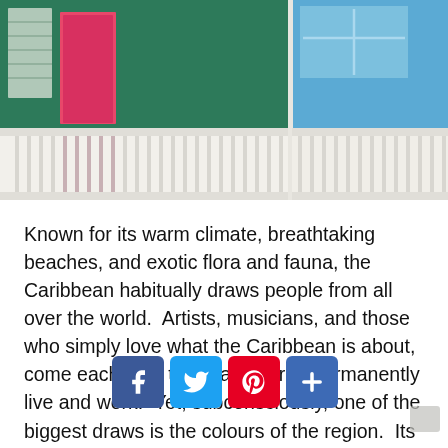[Figure (photo): Colorful Caribbean building exterior: green painted wall with pink/red door and white porch railing on left, clear blue sky with upper window on the right portion.]
Known for its warm climate, breathtaking beaches, and exotic flora and fauna, the Caribbean habitually draws people from all over the world.  Artists, musicians, and those who simply love what the Caribbean is about, come each year to vacation or to permanently live and work.  Yet, subconsciously, one of the biggest draws is the colours of the region.  Its natural environment is captivating and the quality of light accentuates the natural palette.  The tropical sun reflects off the turquoise colours of the sea and its renowned reefs, meeting the deep blue sky in a warm embrace.  Lush [vegetation is co]mplemented by exotic flowering [plants — bourgo]anda, red hibiscus, multi-coloured heliconia, pink begonia, orchids and wild